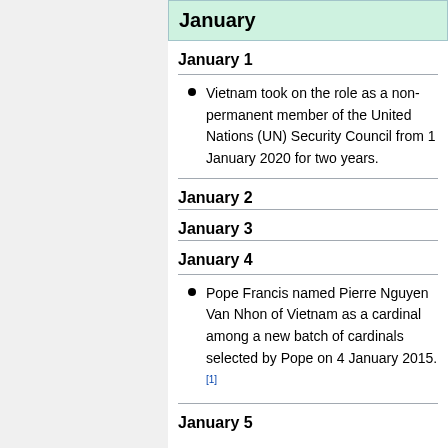January
January 1
Vietnam took on the role as a non-permanent member of the United Nations (UN) Security Council from 1 January 2020 for two years.
January 2
January 3
January 4
Pope Francis named Pierre Nguyen Van Nhon of Vietnam as a cardinal among a new batch of cardinals selected by Pope on 4 January 2015.[1]
January 5